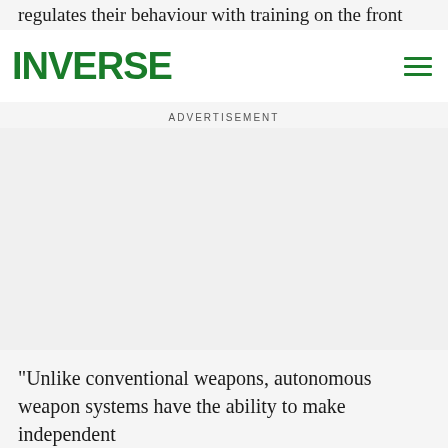regulates their behaviour with training on the front end and regulates back end, says Crootof.
INVERSE
ADVERTISEMENT
“Unlike conventional weapons, autonomous weapon systems have the ability to make independent